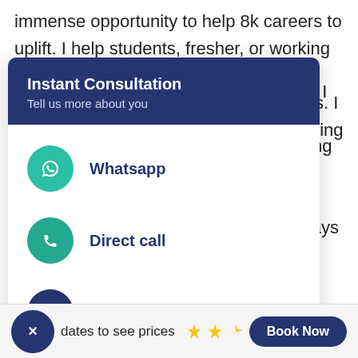immense opportunity to help 8k careers to uplift. I help students, fresher, or working professionals who are willing to be a life skills. I coaching will life. I always try
[Figure (screenshot): Instant Consultation modal popup with header 'Instant Consultation / Tell us more about you' on dark navy background, and three options below: Whatsapp (teal circle with WhatsApp icon), Direct call (teal circle with phone icon), Call Me Back (navy circle with chat icon)]
dates to see prices
[Figure (other): Three yellow/gold star rating icons (approximately 2.5 stars)]
Book Now